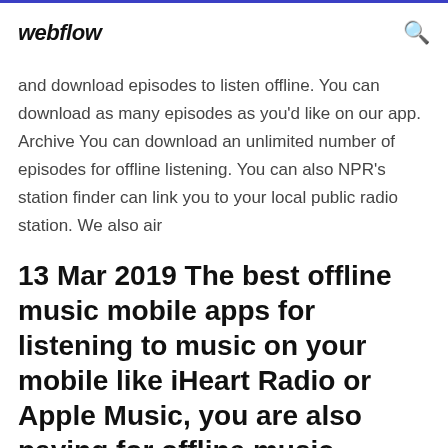webflow
and download episodes to listen offline. You can download as many episodes as you'd like on our app. Archive You can download an unlimited number of episodes for offline listening. You can also NPR's station finder can link you to your local public radio station. We also air
13 Mar 2019 The best offline music mobile apps for listening to music on your mobile like iHeart Radio or Apple Music, you are also paying for offline music listening. Listening to free music